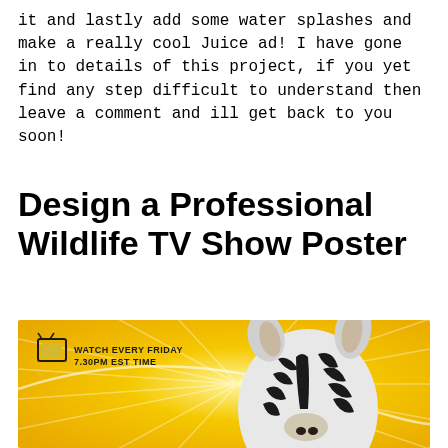it and lastly add some water splashes and make a really cool Juice ad! I have gone in to details of this project, if you yet find any step difficult to understand then leave a comment and ill get back to you soon!
Design a Professional Wildlife TV Show Poster
[Figure (illustration): A wildlife TV show poster with a yellow/golden sunburst background, a black-and-white zebra in the center-right, and text in the upper-left reading 'WATCH EVERY FRIDAY 7.30PM EST TIME' with a small TV icon.]